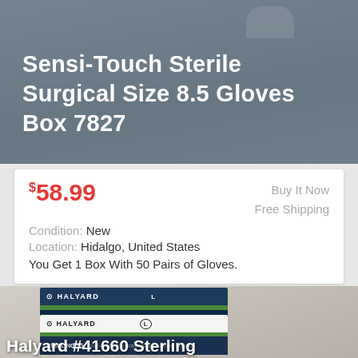Sensi-Touch Sterile Surgical Size 8.5 Gloves Box 7827
$58.99
Buy It Now
Free Shipping
Condition: New
Location: Hidalgo, United States
You Get 1 Box With 50 Pairs of Gloves.
[Figure (photo): Two boxes of Halyard Sterling 5G Sensi-Guard Powder-Free Nitrile Exam Gloves, size L, with a caption reading 'Halyard #41660 Sterling']